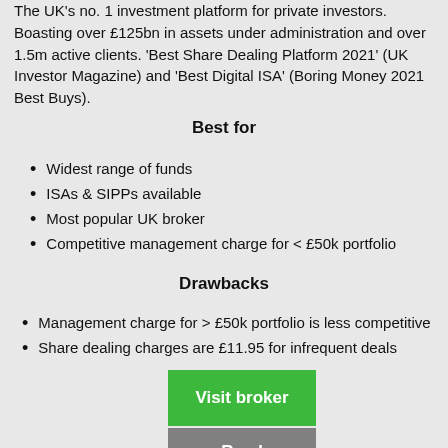The UK's no. 1 investment platform for private investors. Boasting over £125bn in assets under administration and over 1.5m active clients. 'Best Share Dealing Platform 2021' (UK Investor Magazine) and 'Best Digital ISA' (Boring Money 2021 Best Buys).
Best for
Widest range of funds
ISAs & SIPPs available
Most popular UK broker
Competitive management charge for < £50k portfolio
Drawbacks
Management charge for > £50k portfolio is less competitive
Share dealing charges are £11.95 for infrequent deals
Visit broker
Read review